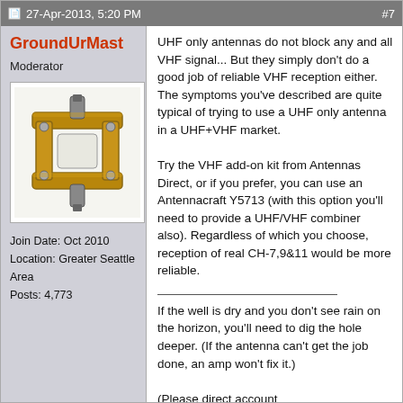27-Apr-2013, 5:20 PM  #7
GroundUrMast
Moderator
[Figure (photo): Avatar image of a metal antenna mast bracket/clamp hardware, gold/bronze colored]
Join Date: Oct 2010
Location: Greater Seattle Area
Posts: 4,773
UHF only antennas do not block any and all VHF signal... But they simply don't do a good job of reliable VHF reception either. The symptoms you've described are quite typical of trying to use a UHF only antenna in a UHF+VHF market.

Try the VHF add-on kit from Antennas Direct, or if you prefer, you can use an Antennacraft Y5713 (with this option you'll need to provide a UHF/VHF combiner also). Regardless of which you choose, reception of real CH-7,9&11 would be more reliable.
If the well is dry and you don't see rain on the horizon, you'll need to dig the hole deeper. (If the antenna can't get the job done, an amp won't fix it.)
(Please direct account